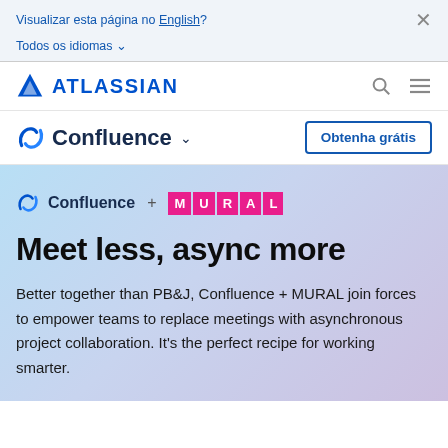Visualizar esta página no English? ×
Todos os idiomas ▾
[Figure (logo): Atlassian logo with triangle icon and bold uppercase ATLASSIAN text in blue, with search and hamburger menu icons]
[Figure (logo): Confluence logo with swirl icon and Confluence text, dropdown caret, and Obtenha grátis button]
[Figure (logo): Confluence small logo + MURAL pink letter blocks logo]
Meet less, async more
Better together than PB&J, Confluence + MURAL join forces to empower teams to replace meetings with asynchronous project collaboration. It's the perfect recipe for working smarter.